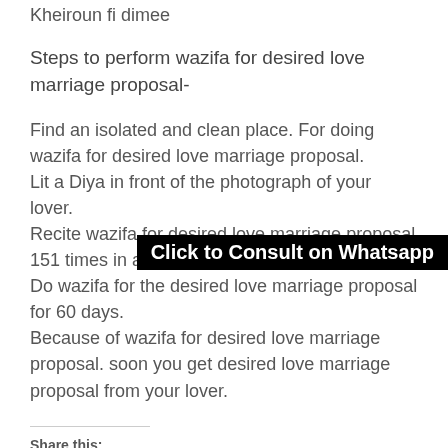Kheiroun fi dimee
Steps to perform wazifa for desired love marriage proposal-
Find an isolated and clean place. For doing wazifa for desired love marriage proposal.
Lit a Diya in front of the photograph of your lover.
Recite wazifa for desired love marriage proposal 151 times in a day.
Do wazifa for the desired love marriage proposal for 60 days.
Because of wazifa for desired love marriage proposal. soon you get desired love marriage proposal from your lover.
[Figure (other): Black banner overlay with white bold text: Click to Consult on Whatsapp]
Share this:
[Figure (other): Share buttons row: Twitter (blue), Facebook (blue), more (grey), email (grey)]